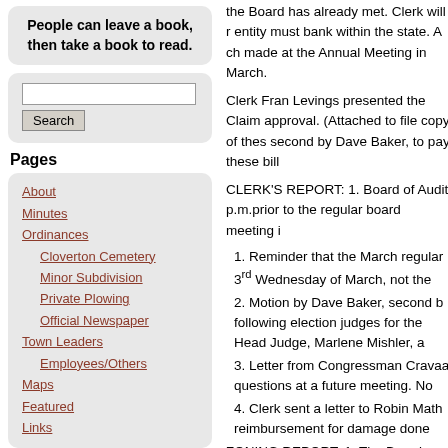People can leave a book, then take a book to read.
Search
Pages
About
Minutes
Ordinances
Cloverton Cemetery
Minor Subdivision
Private Plowing
Official Newspaper
Town Leaders
Employees/Others
Maps
Featured
Links
Recent Posts
MINUTES – NEW DOSEY TOWN BOARD REGUALAR MEETING – AUGUST 10TH,
the Board has already met. Clerk will r entity must bank within the state. A ch made at the Annual Meeting in March.
Clerk Fran Levings presented the Claim approval. (Attached to file copy of thes second by Dave Baker, to pay these bill
CLERK'S REPORT: 1. Board of Audit p.m.prior to the regular board meeting i
1. Reminder that the March regular 3rd Wednesday of March, not the
2. Motion by Dave Baker, second b following election judges for the Head Judge, Marlene Mishler, a
3. Letter from Congressman Cravaa questions at a future meeting. No
4. Clerk sent a letter to Robin Math reimbursement for damage done
ZONING REPORT: 1. The Board assis requested by Kurt Schneider, Pine Coun
OLD BUSINESS: 1. Clerk presented by Dave Fornengo, second by Dave Bak
1. Chair Fornengo presented an e-r